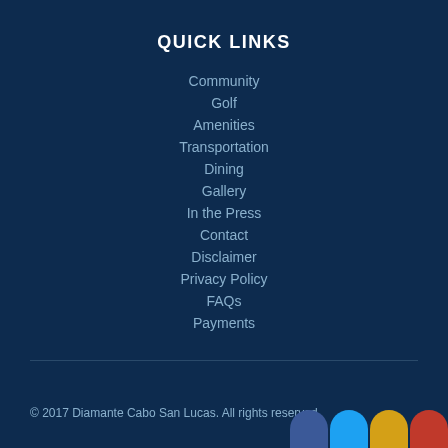QUICK LINKS
Community
Golf
Amenities
Transportation
Dining
Gallery
In the Press
Contact
Disclaimer
Privacy Policy
FAQs
Payments
© 2017 Diamante Cabo San Lucas. All rights reserved.